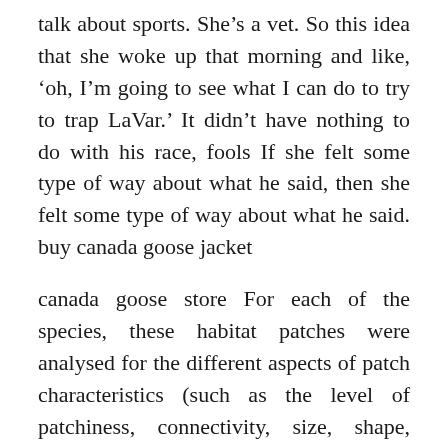talk about sports. She’s a vet. So this idea that she woke up that morning and like, ‘oh, I’m going to see what I can do to try to trap LaVar.’ It didn’t have nothing to do with his race, fools If she felt some type of way about what he said, then she felt some type of way about what he said. buy canada goose jacket
canada goose store For each of the species, these habitat patches were analysed for the different aspects of patch characteristics (such as the level of patchiness, connectivity, size, shape, weighted distance between patches, etc.) by using the Landscape Context Tool (a GIS add on). This process assisted the understanding of the importance of patch quality in habitat selection